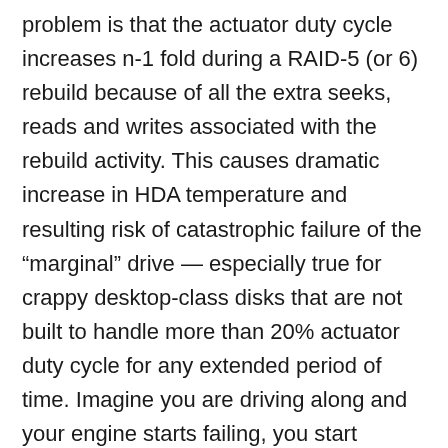problem is that the actuator duty cycle increases n-1 fold during a RAID-5 (or 6) rebuild because of all the extra seeks, reads and writes associated with the rebuild activity. This causes dramatic increase in HDA temperature and resulting risk of catastrophic failure of the “marginal” drive — especially true for crappy desktop-class disks that are not built to handle more than 20% actuator duty cycle for any extended period of time. Imagine you are driving along and your engine starts failing, you start blowing oil and antifreeze out the tailpipe. In response you step on the gas with the hope of getting to the service station before the engine totally blows up. By stepping on the gas (of course) you wind up causing your engine to blow